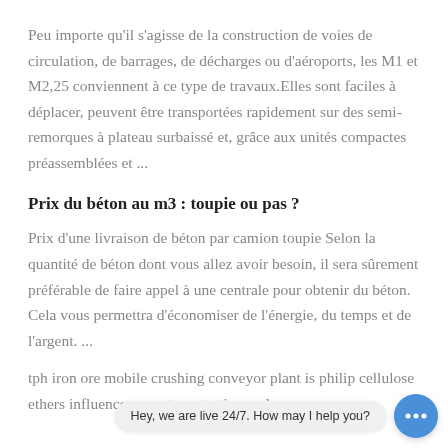Peu importe qu'il s'agisse de la construction de voies de circulation, de barrages, de décharges ou d'aéroports, les M1 et M2,25 conviennent à ce type de travaux.Elles sont faciles à déplacer, peuvent être transportées rapidement sur des semi-remorques à plateau surbaissé et, grâce aux unités compactes préassemblées et ...
Prix du béton au m3 : toupie ou pas ?
Prix d'une livraison de béton par camion toupie Selon la quantité de béton dont vous allez avoir besoin, il sera sûrement préférable de faire appel à une centrale pour obtenir du béton. Cela vous permettra d'économiser de l'énergie, du temps et de l'argent. ...
tph iron ore mobile crushing conveyor plant is philip cellulose ethers influence on water retention and